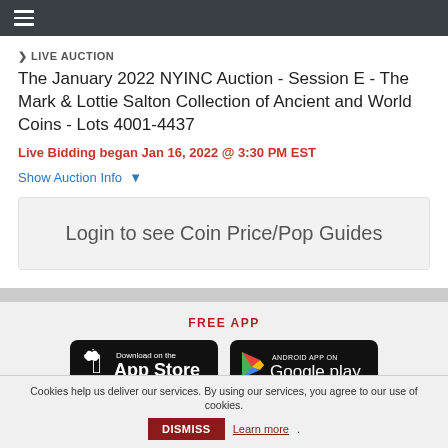☰
▶ LIVE AUCTION
The January 2022 NYINC Auction - Session E - The Mark & Lottie Salton Collection of Ancient and World Coins - Lots 4001-4437
Live Bidding began Jan 16, 2022 @ 3:30 PM EST
Show Auction Info ▾
Login to see Coin Price/Pop Guides
FREE APP
[Figure (screenshot): Download on the App Store button (black rounded rectangle with Apple logo and text)]
[Figure (screenshot): Android App on Google play button (black rounded rectangle with Google Play logo and text)]
Cookies help us deliver our services. By using our services, you agree to our use of cookies. DISMISS Learn more.